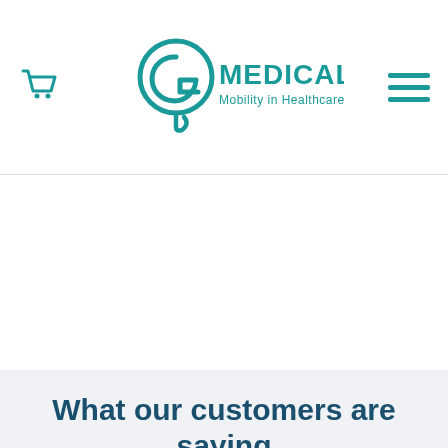[Figure (logo): G Medical logo with circular G symbol and text 'MEDICAL Mobility in Healthcare' in teal]
What our customers are saying